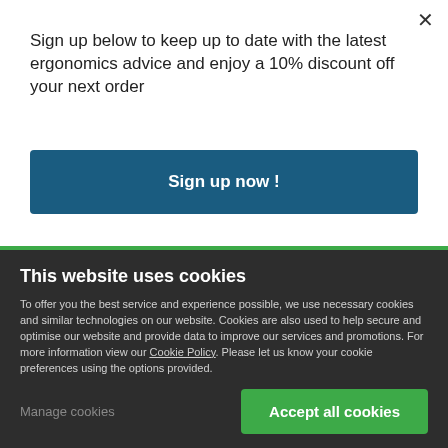Sign up below to keep up to date with the latest ergonomics advice and enjoy a 10% discount off your next order
Sign up now !
[Figure (photo): Partial photo of a person reclining in a chair, seen from behind, with a window showing greenery in the background]
This website uses cookies
To offer you the best service and experience possible, we use necessary cookies and similar technologies on our website. Cookies are also used to help secure and optimise our website and provide data to improve our services and promotions. For more information view our Cookie Policy. Please let us know your cookie preferences using the options provided.
Manage cookies
Accept all cookies